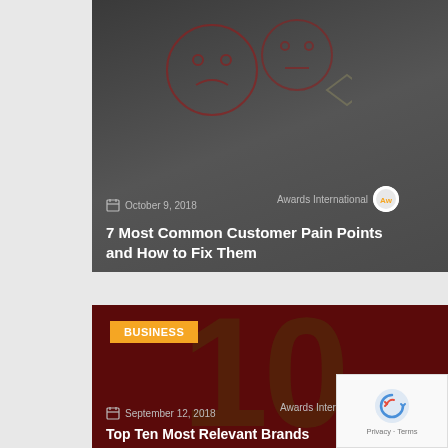[Figure (photo): Blog card with dark gray background showing customer pain point emoji illustration]
October 9, 2018
Awards International
7 Most Common Customer Pain Points and How to Fix Them
[Figure (photo): Blog card with dark red background showing large '10' numeral watermark]
BUSINESS
September 12, 2018
Awards International
Top Ten Most Relevant Brands